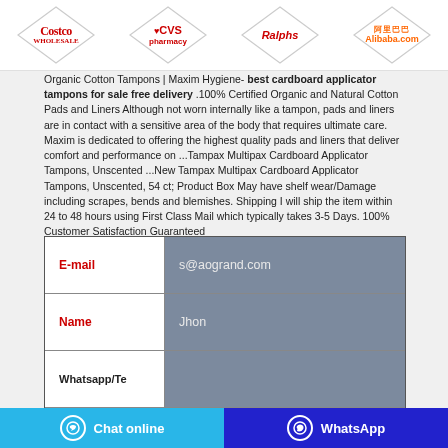[Figure (logo): Four retailer logos: Costco, CVS pharmacy, Ralphs, Alibaba.com arranged in diamond/rhombus shapes]
Organic Cotton Tampons | Maxim Hygiene- best cardboard applicator tampons for sale free delivery .100% Certified Organic and Natural Cotton Pads and Liners Although not worn internally like a tampon, pads and liners are in contact with a sensitive area of the body that requires ultimate care. Maxim is dedicated to offering the highest quality pads and liners that deliver comfort and performance on ...Tampax Multipax Cardboard Applicator Tampons, Unscented ...New Tampax Multipax Cardboard Applicator Tampons, Unscented, 54 ct; Product Box May have shelf wear/Damage including scrapes, bends and blemishes. Shipping I will ship the item within 24 to 48 hours using First Class Mail which typically takes 3-5 Days. 100% Customer Satisfaction Guaranteed
| Field | Value |
| --- | --- |
| E-mail | s@aogrand.com |
| Name | Jhon |
| Whatsapp/Te |  |
| Country | USA |
|  |  |
Chat online   WhatsApp